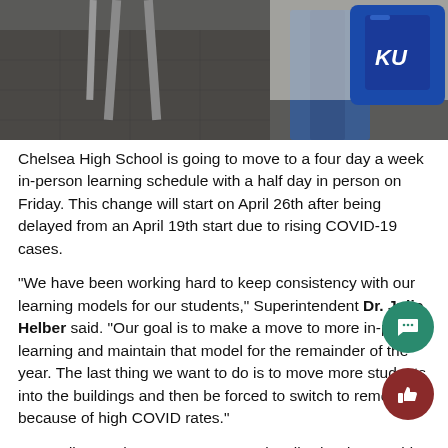[Figure (photo): Photo of a school hallway/classroom floor with chair legs visible, student wearing blue jeans, and a blue backpack or bag in the background]
Chelsea High School is going to move to a four day a week in-person learning schedule with a half day in person on Friday. This change will start on April 26th after being delayed from an April 19th start due to rising COVID-19 cases.
“We have been working hard to keep consistency with our learning models for our students,” Superintendent Dr. Julie Helber said. “Our goal is to make a move to more in-person learning and maintain that model for the remainder of the year.  The last thing we want to do is to move more students into the buildings and then be forced to switch to remote because of high COVID rates.”
Depending on the COVID-19 cases locally, the date could be pushed back again.
“What we’ll need to be doing during that time is assessing weekly to make sure that we can meet that 26th timeline,” Dr. Helber said a…